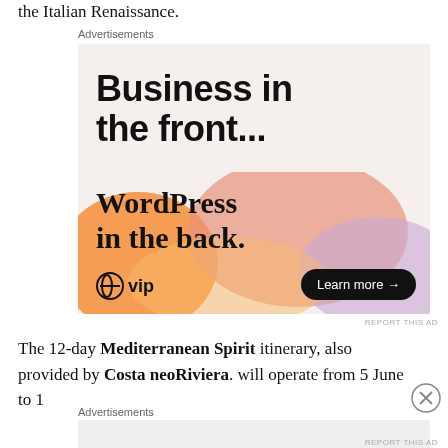the Italian Renaissance.
Advertisements
[Figure (screenshot): WordPress VIP advertisement. Top section on light beige background reads 'Business in the front...' in bold black sans-serif. Bottom section has colorful gradient blobs (orange, pink, purple) with text 'WordPress in the back.' in serif font, WordPress VIP logo bottom-left, and 'Learn more →' button in black rounded rectangle bottom-right.]
REPORT THIS AD
The 12-day Mediterranean Spirit itinerary, also provided by Costa neoRiviera. will operate from 5 June to 1
Advertisements